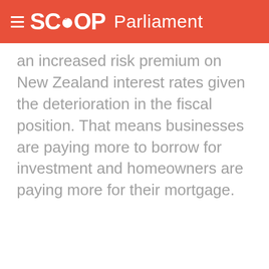SCOOP Parliament
an increased risk premium on New Zealand interest rates given the deterioration in the fiscal position. That means businesses are paying more to borrow for investment and homeowners are paying more for their mortgage.